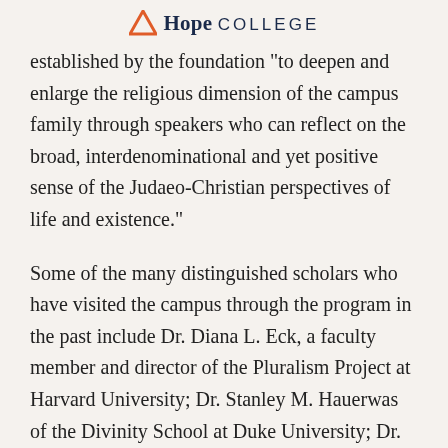Hope College
established by the foundation "to deepen and enlarge the religious dimension of the campus family through speakers who can reflect on the broad, interdenominational and yet positive sense of the Judaeo-Christian perspectives of life and existence."
Some of the many distinguished scholars who have visited the campus through the program in the past include Dr. Diana L. Eck, a faculty member and director of the Pluralism Project at Harvard University; Dr. Stanley M. Hauerwas of the Divinity School at Duke University; Dr. Martin E. Marty of the University of Chicago Divinity School; Dr.